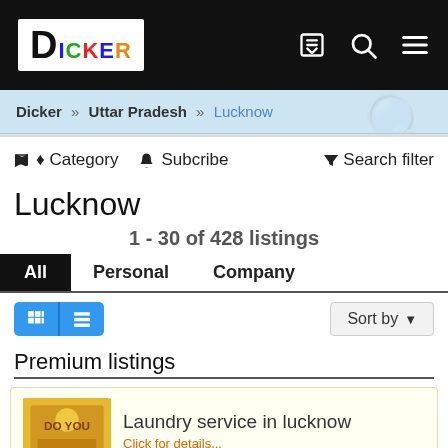[Figure (logo): Dicker logo with colorful letters on white background in black header bar]
Dicker » Uttar Pradesh » Lucknow
♦ Category  🔔 Subcribe  ▼ Search filter
Lucknow
1 - 30 of 428 listings
All  Personal  Company
Sort by ▼
Premium listings
Laundry service in lucknow